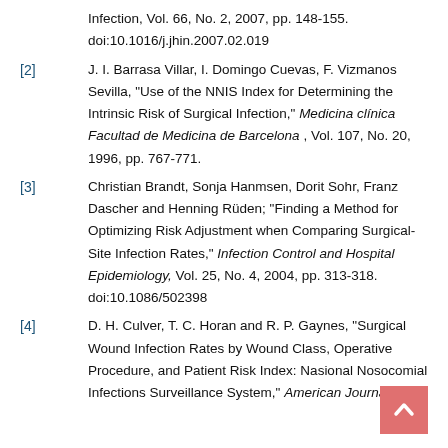Infection, Vol. 66, No. 2, 2007, pp. 148-155. doi:10.1016/j.jhin.2007.02.019
[2] J. I. Barrasa Villar, I. Domingo Cuevas, F. Vizmanos Sevilla, "Use of the NNIS Index for Determining the Intrinsic Risk of Surgical Infection," Medicina clínica Facultad de Medicina de Barcelona , Vol. 107, No. 20, 1996, pp. 767-771.
[3] Christian Brandt, Sonja Hanmsen, Dorit Sohr, Franz Dascher and Henning Rüden; "Finding a Method for Optimizing Risk Adjustment when Comparing Surgical-Site Infection Rates," Infection Control and Hospital Epidemiology, Vol. 25, No. 4, 2004, pp. 313-318. doi:10.1086/502398
[4] D. H. Culver, T. C. Horan and R. P. Gaynes, "Surgical Wound Infection Rates by Wound Class, Operative Procedure, and Patient Risk Index: Nasional Nosocomial Infections Surveillance System," American Journal of